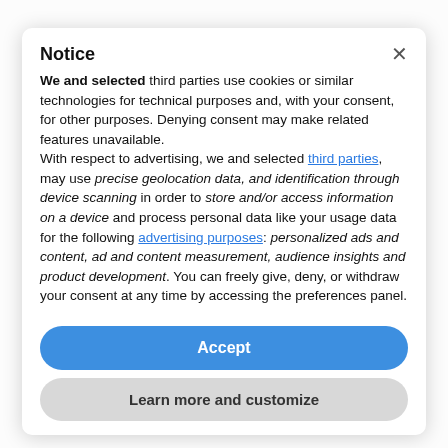Notice
We and selected third parties use cookies or similar technologies for technical purposes and, with your consent, for other purposes. Denying consent may make related features unavailable.
With respect to advertising, we and selected third parties, may use precise geolocation data, and identification through device scanning in order to store and/or access information on a device and process personal data like your usage data for the following advertising purposes: personalized ads and content, ad and content measurement, audience insights and product development. You can freely give, deny, or withdraw your consent at any time by accessing the preferences panel.
Accept
Learn more and customize